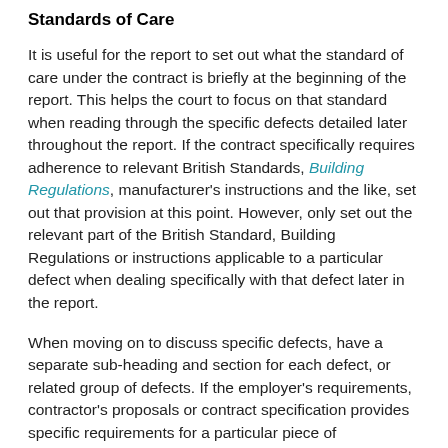Standards of Care
It is useful for the report to set out what the standard of care under the contract is briefly at the beginning of the report. This helps the court to focus on that standard when reading through the specific defects detailed later throughout the report. If the contract specifically requires adherence to relevant British Standards, Building Regulations, manufacturer's instructions and the like, set out that provision at this point. However, only set out the relevant part of the British Standard, Building Regulations or instructions applicable to a particular defect when dealing specifically with that defect later in the report.
When moving on to discuss specific defects, have a separate sub-heading and section for each defect, or related group of defects. If the employer's requirements, contractor's proposals or contract specification provides specific requirements for a particular piece of